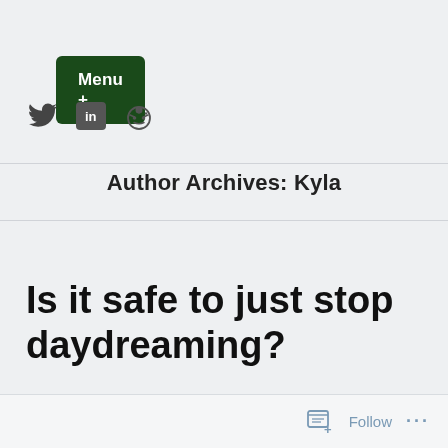Menu +
[Figure (other): Social media icons: Twitter bird, LinkedIn square, Reddit alien]
Author Archives: Kyla
Is it safe to just stop daydreaming?
Follow ...